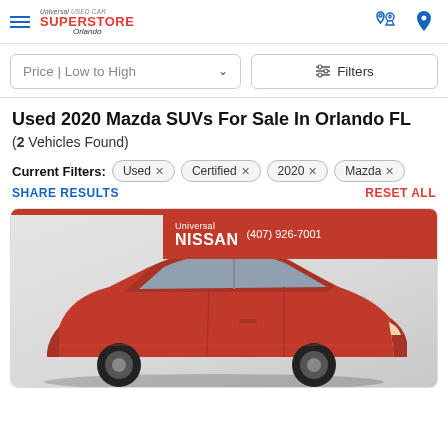Universal Used Car Superstore Orlando
Price | Low to High (sort filter) | Filters
Used 2020 Mazda SUVs For Sale In Orlando FL
(2 Vehicles Found)
Current Filters: Used × Certified × 2020 × Mazda ×
SHARE RESULTS   RESET ALL
[Figure (photo): Red Mazda CX-5 SUV photographed in a showroom with white background. Dealer banner reading 'Universal NISSAN (407) 926-7001' overlaid in red at top right of image.]